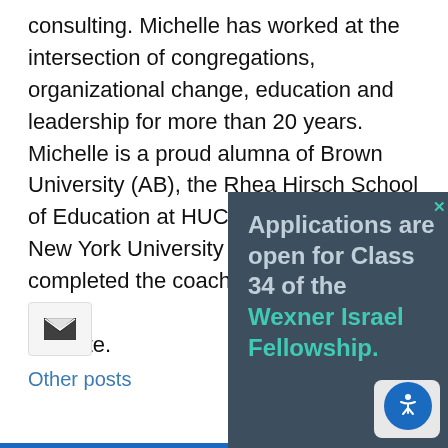consulting. Michelle has worked at the intersection of congregations, organizational change, education and leadership for more than 20 years. Michelle is a proud alumna of Brown University (AB), the Rhea Hirsch School of Education at HUC-JIR (MAJE) and New York University (PhD). She completed the coach training at the Training Institute.
[Figure (other): Email/contact icon — dark envelope on light grey box]
Other posts
[Figure (infographic): Dark teal popup overlay with bold text reading: Applications are open for Class 34 of the Wexner Israel Fellowship. 'Wexner Israel Fellowship' rendered in teal color.]